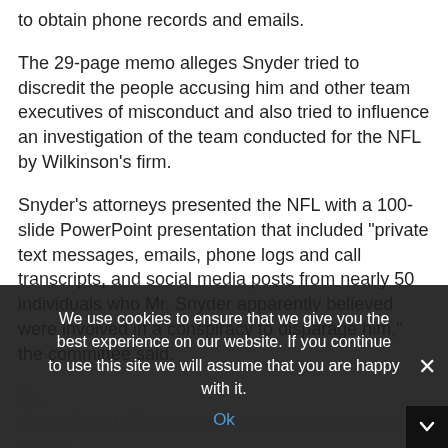to obtain phone records and emails.
The 29-page memo alleges Snyder tried to discredit the people accusing him and other team executives of misconduct and also tried to influence an investigation of the team conducted for the NFL by Wilkinson’s firm.
Snyder’s attorneys presented the NFL with a 100-slide PowerPoint presentation that included “private text messages, emails, phone logs and call transcripts, and social media posts from nearly 50 individuals who Mr. Snyder apparently believed were involved in a conspiracy to disparage him,” the committee said.
Goodell said: “Any action that would discourage people from coming forward would be inappropriate.”
We use cookies to ensure that we give you the best experience on our website. If you continue to use this site we will assume that you are happy with it.
Ok